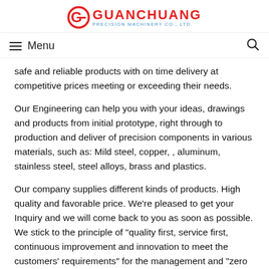[Figure (logo): Guanchuang Precision Machinery Co., Ltd. logo with stylized G icon in red/blue and company name in red, subtitle in blue]
Menu
safe and reliable products with on time delivery at competitive prices meeting or exceeding their needs.
Our Engineering can help you with your ideas, drawings and products from initial prototype, right through to production and deliver of precision components in various materials, such as: Mild steel, copper, , aluminum, stainless steel, steel alloys, brass and plastics.
Our company supplies different kinds of products. High quality and favorable price. We're pleased to get your Inquiry and we will come back to you as soon as possible. We stick to the principle of "quality first, service first, continuous improvement and innovation to meet the customers' requirements" for the management and "zero defect, zero complaints" as the quality